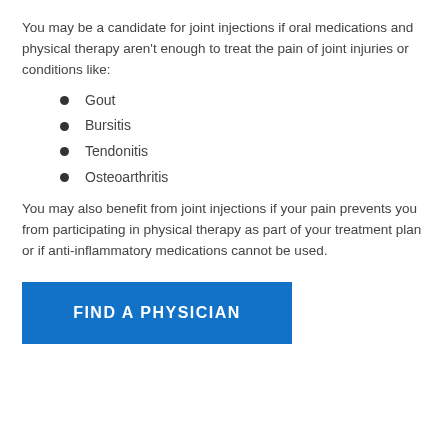You may be a candidate for joint injections if oral medications and physical therapy aren't enough to treat the pain of joint injuries or conditions like:
Gout
Bursitis
Tendonitis
Osteoarthritis
You may also benefit from joint injections if your pain prevents you from participating in physical therapy as part of your treatment plan or if anti-inflammatory medications cannot be used.
FIND A PHYSICIAN